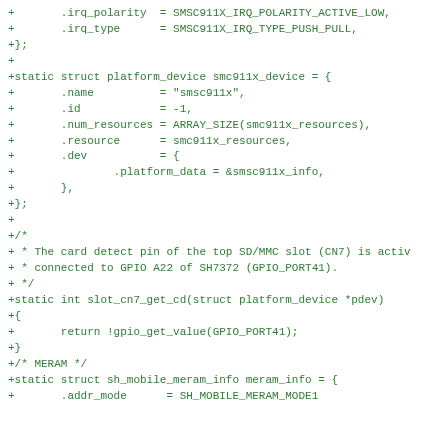[Figure (screenshot): Code diff snippet showing C source code additions for platform device and struct definitions including smc911x_device, slot_cn7_get_cd function, and sh_mobile_meram_info struct. All lines prefixed with '+' indicating additions in green monospace font.]